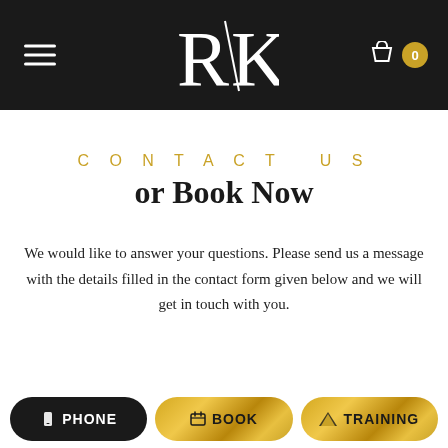RK logo with hamburger menu and cart
CONTACT US or Book Now
We would like to answer your questions. Please send us a message with the details filled in the contact form given below and we will get in touch with you.